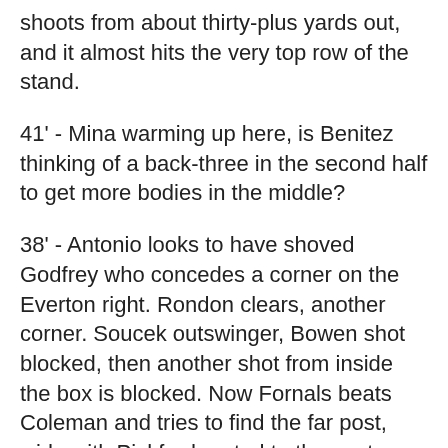shoots from about thirty-plus yards out, and it almost hits the very top row of the stand.
41' - Mina warming up here, is Benitez thinking of a back-three in the second half to get more bodies in the middle?
38' - Antonio looks to have shoved Godfrey who concedes a corner on the Everton right. Rondon clears, another corner. Soucek outswinger, Bowen shot blocked, then another shot from inside the box is blocked. Now Fornals beats Coleman and tries to find the far post, wide with Pickford rooted to the spot. Whew.
37' - Everton have moved into more of a 4-2-3-1 than a 4-4-2 now, with Gray out wide on the left and Iwobi at #10. Immediately Gray has a shooting chance but doesn't catch it well and it runs to Fabianski.